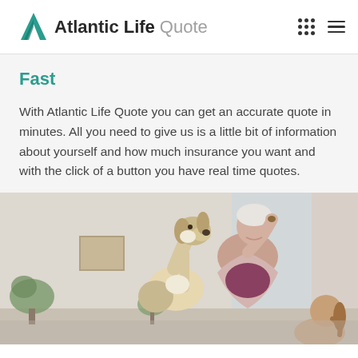Atlantic Life Quote
Fast
With Atlantic Life Quote you can get an accurate quote in minutes. All you need to give us is a little bit of information about yourself and how much insurance you want and with the click of a button you have real time quotes.
[Figure (photo): An elderly woman with white hair smiling and feeding/playing with a beagle dog that is jumping up, with a younger woman visible in the lower right, indoor setting with plants and curtains in the background.]